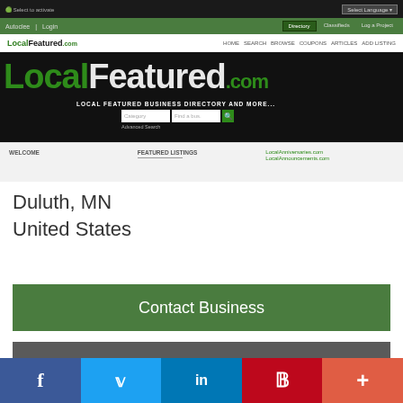[Figure (screenshot): Screenshot of LocalFeatured.com website showing navigation bars, large logo, hero section with search, and content strip with WELCOME, FEATURED LISTINGS, LocalAnniversaries.com, LocalAnnouncements.com columns]
Duluth, MN
United States
Contact Business
Visit Website
[Figure (infographic): Social sharing bar with Facebook, Twitter, LinkedIn, Pinterest, and More (+) buttons]